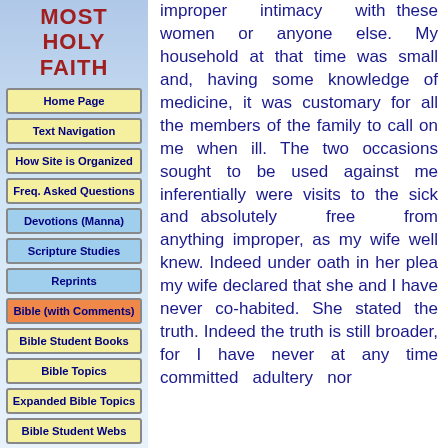MOST HOLY FAITH
Home Page
Text Navigation
How Site is Organized
Freq. Asked Questions
Devotions (Manna)
Scripture Studies
Reprints
Bible (with Comments)
Bible Student Books
Bible Topics
Expanded Bible Topics
Bible Student Webs
Miscellaneous
improper intimacy with these women or anyone else. My household at that time was small and, having some knowledge of medicine, it was customary for all the members of the family to call on me when ill. The two occasions sought to be used against me inferentially were visits to the sick and absolutely free from anything improper, as my wife well knew. Indeed under oath in her plea my wife declared that she and I have never co-habited. She stated the truth. Indeed the truth is still broader, for I have never at any time committed adultery nor